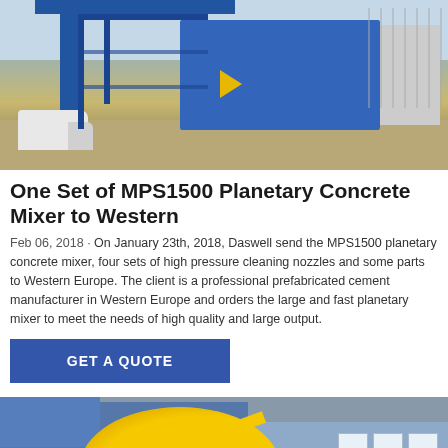[Figure (photo): Industrial concrete mixing plant with blue crane structure and machinery on a construction site, with a white truck visible on the left]
One Set of MPS1500 Planetary Concrete Mixer to Western
Feb 06, 2018 · On January 23th, 2018, Daswell send the MPS1500 planetary concrete mixer, four sets of high pressure cleaning nozzles and some parts to Western Europe. The client is a professional prefabricated cement manufacturer in Western Europe and orders the large and fast planetary mixer to meet the needs of high quality and large output.
[Figure (photo): Yellow concrete mixer machine (drum type) in front of a blue building with windows]
GET A QUOTE
Send Message
Inquiry Online